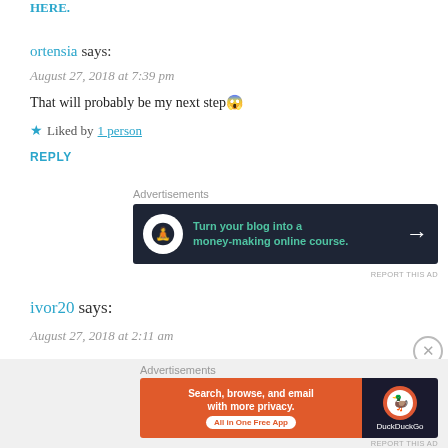HERE.
ortensia says:
August 27, 2018 at 7:39 pm
That will probably be my next step😱
★ Liked by 1 person
REPLY
[Figure (screenshot): Dark advertisement banner: 'Turn your blog into a money-making online course.' with arrow]
REPORT THIS AD
ivor20 says:
August 27, 2018 at 2:11 am
[Figure (screenshot): DuckDuckGo advertisement: 'Search, browse, and email with more privacy. All in One Free App']
REPORT THIS AD